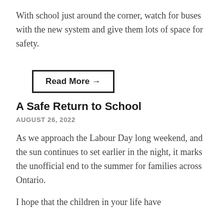With school just around the corner, watch for buses with the new system and give them lots of space for safety.
Read More →
A Safe Return to School
AUGUST 26, 2022
As we approach the Labour Day long weekend, and the sun continues to set earlier in the night, it marks the unofficial end to the summer for families across Ontario.
I hope that the children in your life have